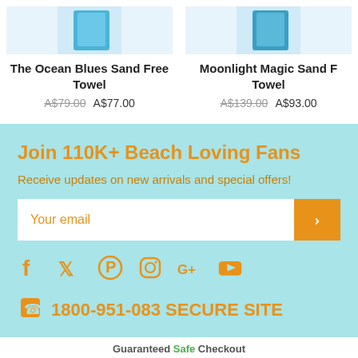The Ocean Blues Sand Free Towel A$79.00 A$77.00
Moonlight Magic Sand Free Towel A$139.00 A$93.00
Join 110K+ Beach Loving Fans
Receive updates on new arrivals and special offers!
Your email
[Figure (infographic): Social media icons: Facebook, Twitter, Pinterest, Instagram, Google+, YouTube — all in orange]
1800-951-083 SECURE SITE
Guaranteed Safe Checkout